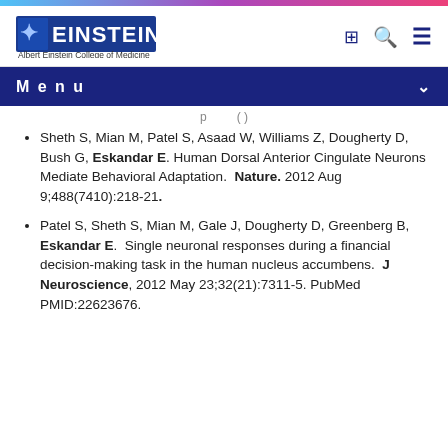Albert Einstein College of Medicine
Menu
Sheth S, Mian M, Patel S, Asaad W, Williams Z, Dougherty D, Bush G, Eskandar E. Human Dorsal Anterior Cingulate Neurons Mediate Behavioral Adaptation. Nature. 2012 Aug 9;488(7410):218-21.
Patel S, Sheth S, Mian M, Gale J, Dougherty D, Greenberg B, Eskandar E. Single neuronal responses during a financial decision-making task in the human nucleus accumbens. J Neuroscience, 2012 May 23;32(21):7311-5. PubMed PMID:22623676.